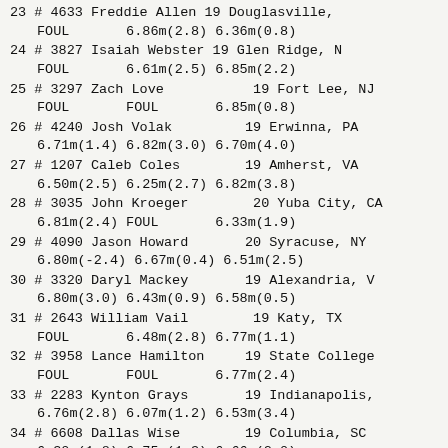23 # 4633 Freddie Allen     19 Douglasville,
    FOUL       6.86m(2.8) 6.36m(0.8)
24 # 3827 Isaiah Webster     19 Glen Ridge, N
    FOUL       6.61m(2.5) 6.85m(2.2)
25 # 3297 Zach Love          19 Fort Lee, NJ
    FOUL       FOUL       6.85m(0.8)
26 # 4240 Josh Volak         19 Erwinna, PA
    6.71m(1.4) 6.82m(3.0) 6.70m(4.0)
27 # 1207 Caleb Coles        19 Amherst, VA
    6.50m(2.5) 6.25m(2.7) 6.82m(3.8)
28 # 3035 John Kroeger       20 Yuba City, CA
    6.81m(2.4) FOUL       6.33m(1.9)
29 # 4090 Jason Howard       20 Syracuse, NY
    6.80m(-2.4) 6.67m(0.4) 6.51m(2.5)
30 # 3320 Daryl Mackey       19 Alexandria, V
    6.80m(3.0) 6.43m(0.9) 6.58m(0.5)
31 # 2643 William Vail       19 Katy, TX
    FOUL       6.48m(2.8) 6.77m(1.1)
32 # 3958 Lance Hamilton     19 State College
    FOUL       FOUL       6.77m(2.4)
33 # 2283 Kynton Grays       19 Indianapolis,
    6.76m(2.8) 6.07m(1.2) 6.53m(3.4)
34 # 6608 Dallas Wise        19 Columbia, SC
    6.30m(1.8) 6.75m(1.3) 6.66m(2.0)
35 # 4185 Cameron O'Neal    20 Biloxi, MS